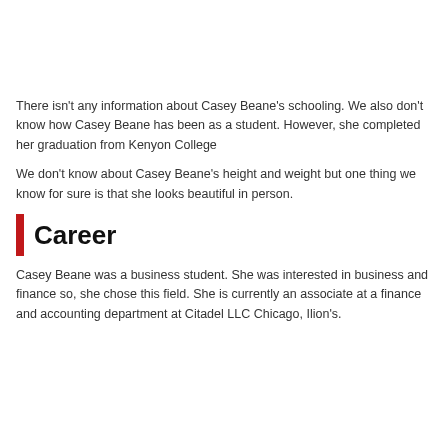There isn't any information about Casey Beane's schooling. We also don't know how Casey Beane has been as a student. However, she completed her graduation from Kenyon College
We don't know about Casey Beane's height and weight but one thing we know for sure is that she looks beautiful in person.
Career
Casey Beane was a business student. She was interested in business and finance so, she chose this field. She is currently an associate at a finance and accounting department at Citadel LLC Chicago, Ilion's.